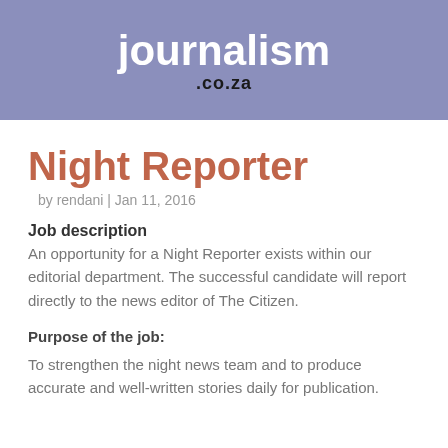journalism .co.za
Night Reporter
by rendani | Jan 11, 2016
Job description
An opportunity for a Night Reporter exists within our editorial department. The successful candidate will report directly to the news editor of The Citizen.
Purpose of the job:
To strengthen the night news team and to produce accurate and well-written stories daily for publication.